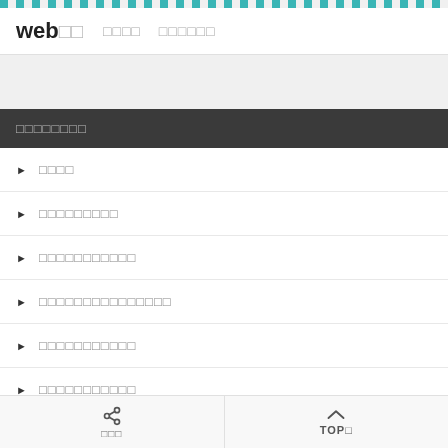web□□  □□□□  □□□□□□
□□□□□□□□
▶ □□□□
▶ □□□□□□□□□
▶ □□□□□□□□□□□
▶ □□□□□□□□□□□□□□□
▶ □□□□□□□□□□□
▶ □□□□□□□□□□□
□□□  TOP□